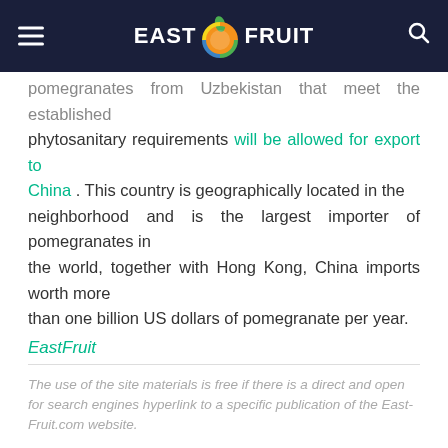EAST FRUIT
pomegranates from Uzbekistan that meet the established phytosanitary requirements will be allowed for export to China . This country is geographically located in the neighborhood and is the largest importer of pomegranates in the world, together with Hong Kong, China imports worth more than one billion US dollars of pomegranate per year.
EastFruit
The use of the site materials is free if there is a direct and open for search engines hyperlink to a specific publication of the East-Fruit.com website.
[Figure (other): Social media sharing buttons: Facebook, Twitter, LinkedIn, WhatsApp, Telegram, Viber, and a back-to-top button]